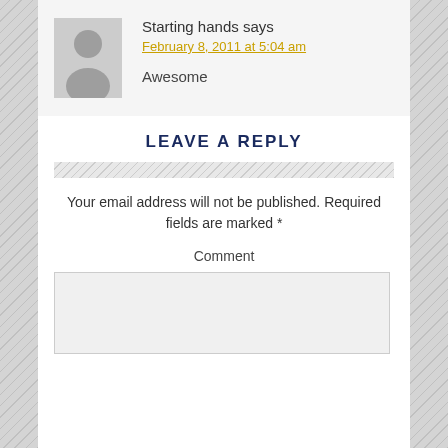Starting hands says
February 8, 2011 at 5:04 am
Awesome
LEAVE A REPLY
Your email address will not be published. Required fields are marked *
Comment